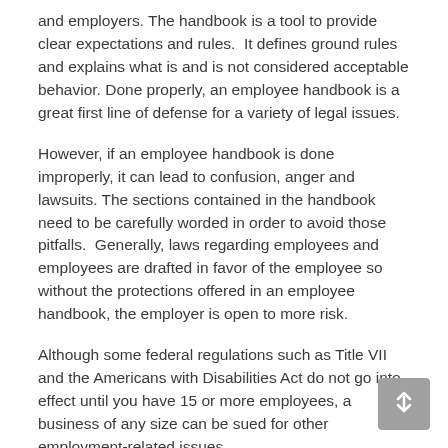and employers. The handbook is a tool to provide clear expectations and rules.  It defines ground rules and explains what is and is not considered acceptable behavior. Done properly, an employee handbook is a great first line of defense for a variety of legal issues.
However, if an employee handbook is done improperly, it can lead to confusion, anger and lawsuits. The sections contained in the handbook need to be carefully worded in order to avoid those pitfalls.  Generally, laws regarding employees and employees are drafted in favor of the employee so without the protections offered in an employee handbook, the employer is open to more risk.
Although some federal regulations such as Title VII and the Americans with Disabilities Act do not go into effect until you have 15 or more employees, a business of any size can be sued for other employment-related issues.
To minimize your risks, it is important to have a relationship